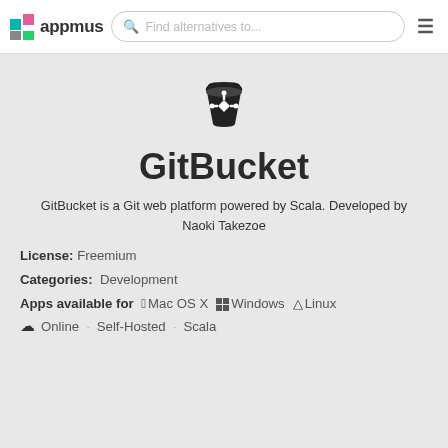appmus — Find alternatives to...
[Figure (logo): GitBucket app logo: bucket icon with a git arrow symbol]
GitBucket
GitBucket is a Git web platform powered by Scala. Developed by Naoki Takezoe
License: Freemium
Categories: Development
Apps available for  Mac OS X  Windows  Linux  Online  Self-Hosted  Scala